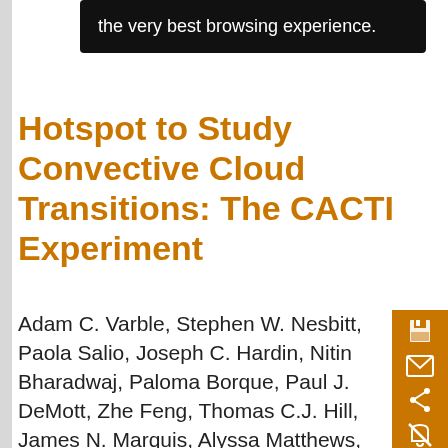[Figure (screenshot): Black tooltip popup overlay showing text 'the very best browsing experience.']
Hotspot to Study Convective Cloud Transitions: The CACTI Experiment
Adam C. Varble, Stephen W. Nesbitt, Paola Salio, Joseph C. Hardin, Nitin Bharadwaj, Paloma Borque, Paul J. DeMott, Zhe Feng, Thomas C.J. Hill, James N. Marquis, Alyssa Matthews, Fan Mei, Rusen Öktem, Vagner Castro, Lexie Goldberger, Alexis Hunzinger, Kevin R. Barry, Sonia M. Kreidenweis, Greg M. McFarquhar, Lynn A. McMurdie, Mikhail Pekour, Heath Powers, David M. Romps, Celeste Saulo, Beat...